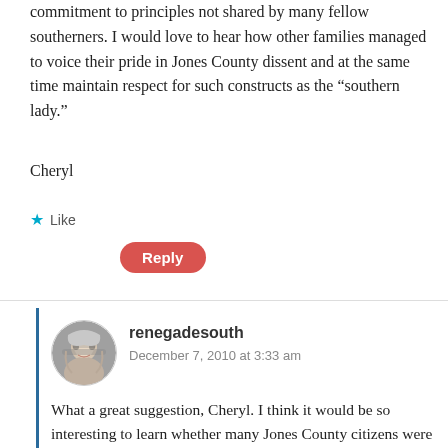commitment to principles not shared by many fellow southerners. I would love to hear how other families managed to voice their pride in Jones County dissent and at the same time maintain respect for such constructs as the “southern lady.”
Cheryl
★ Like
Reply
renegadesouth
December 7, 2010 at 3:33 am
What a great suggestion, Cheryl. I think it would be so interesting to learn whether many Jones County citizens were raised to a different standard of “southernness” on account of being from an area noted for dissent. I know that some definitely were, but I’d like to hear from more.
What about you? Did being from the Free State of Jones